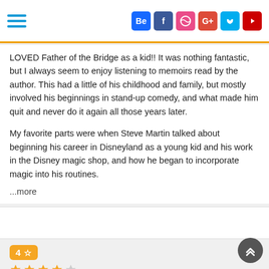Navigation header with hamburger menu and social icons: Behance, Facebook, Dribbble, Google+, Vimeo, YouTube
LOVED Father of the Bridge as a kid!! It was nothing fantastic, but I always seem to enjoy listening to memoirs read by the author. This had a little of his childhood and family, but mostly involved his beginnings in stand-up comedy, and what made him quit and never do it again all those years later.

My favorite parts were when Steve Martin talked about beginning his career in Disneyland as a young kid and his work in the Disney magic shop, and how he began to incorporate magic into his routines.

...more
4
Sep 21, 2014
By 1978, Steve Martin was the biggest selling act in the history standup comedy. The idea that you could sell out the Universal